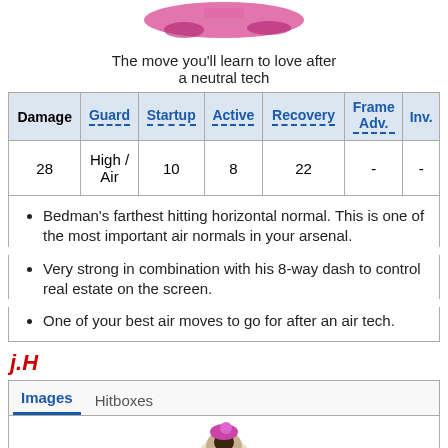[Figure (illustration): Game character illustration at top of page]
The move you'll learn to love after a neutral tech
| Damage | Guard | Startup | Active | Recovery | Frame Adv. | Inv. |
| --- | --- | --- | --- | --- | --- | --- |
| 28 | High / Air | 10 | 8 | 22 | - | - |
Bedman's farthest hitting horizontal normal. This is one of the most important air normals in your arsenal.
Very strong in combination with his 8-way dash to control real estate on the screen.
One of your best air moves to go for after an air tech.
j.H
Images   Hitboxes
[Figure (illustration): Game character illustration for j.H move]